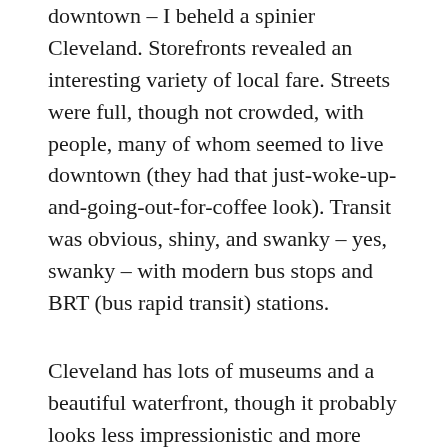downtown – I beheld a spinier Cleveland. Storefronts revealed an interesting variety of local fare. Streets were full, though not crowded, with people, many of whom seemed to live downtown (they had that just-woke-up-and-going-out-for-coffee look). Transit was obvious, shiny, and swanky – yes, swanky – with modern bus stops and BRT (bus rapid transit) stations.
Cleveland has lots of museums and a beautiful waterfront, though it probably looks less impressionistic and more vibrant on days without relentless grey and pouring rain. I wish to return for a visit of much more than 24 hours. And, to lure any transit enthusiast, Cleveland has an active transit advocacy group,